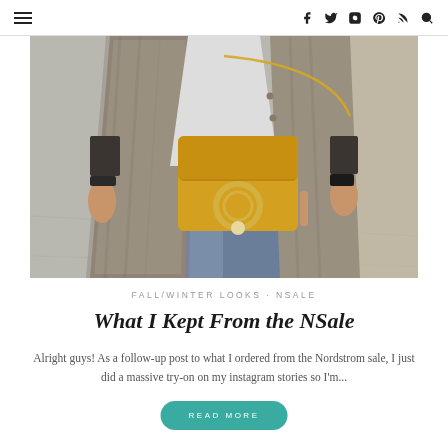≡  f  tw  IG  P  RSS  🔍
[Figure (photo): Fashion photo of a person wearing a plaid blazer, white shirt, and jeans, carrying a mustard yellow crossbody bag with a gold ring hardware detail, on a gray tile sidewalk background.]
FALL/WINTER LOOKS · NSALE
What I Kept From the NSale
Alright guys! As a follow-up post to what I ordered from the Nordstrom sale, I just did a massive try-on on my instagram stories so I'm...
READ MORE